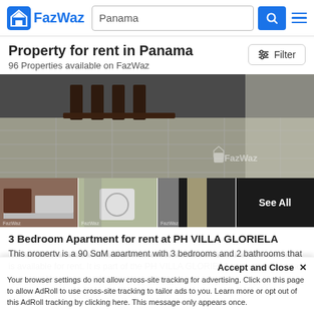FazWaz | Panama | Search
Property for rent in Panama
96 Properties available on FazWaz
[Figure (photo): Main apartment interior photo showing dining area with wooden chairs and tiled floor, watermarked with FazWaz logo]
[Figure (photo): Thumbnail row: kitchen, laundry/bathroom, hallway, and See All overlay]
3 Bedroom Apartment for rent at PH VILLA GLORIELA
This property is a 90 SqM apartment with 3 bedrooms and 2 bathrooms that is available for rent. It is part of the PH VILLA GLORIELA project in Betania, Panama. You can rent this apartment long te...
Accept and Close ✕
Your browser settings do not allow cross-site tracking for advertising. Click on this page to allow AdRoll to use cross-site tracking to tailor ads to you. Learn more or opt out of this AdRoll tracking by clicking here. This message only appears once.